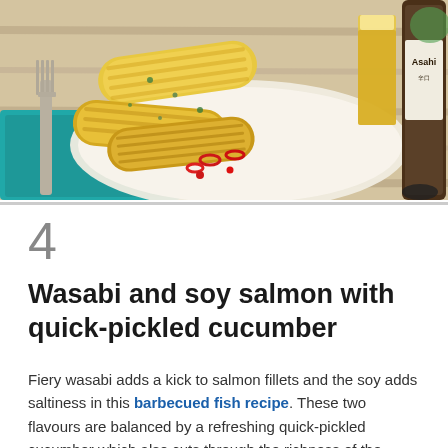[Figure (photo): Photo of grilled corn on the cob pieces on a white plate, garnished with red chili slices, herbs and sesame seeds. A teal napkin and fork are on the left, an Asahi beer bottle and glass are on the right, on a wooden table background.]
4
Wasabi and soy salmon with quick-pickled cucumber
Fiery wasabi adds a kick to salmon fillets and the soy adds saltiness in this barbecued fish recipe. These two flavours are balanced by a refreshing quick-pickled cucumber which also cuts through the richness of the salmon.